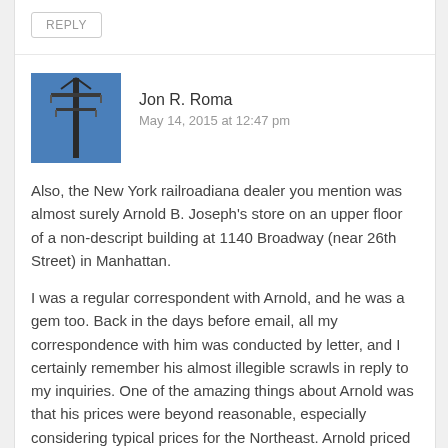REPLY
[Figure (photo): Avatar photo of a utility pole or antenna structure against a blue sky]
Jon R. Roma
May 14, 2015 at 12:47 pm
Also, the New York railroadiana dealer you mention was almost surely Arnold B. Joseph's store on an upper floor of a non-descript building at 1140 Broadway (near 26th Street) in Manhattan.
I was a regular correspondent with Arnold, and he was a gem too. Back in the days before email, all my correspondence with him was conducted by letter, and I certainly remember his almost illegible scrawls in reply to my inquiries. One of the amazing things about Arnold was that his prices were beyond reasonable, especially considering typical prices for the Northeast. Arnold priced his items with complete indifference to what some of the other railroadiana dealers were asking.